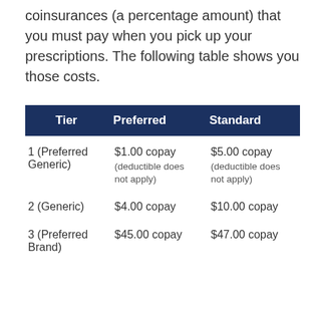coinsurances (a percentage amount) that you must pay when you pick up your prescriptions. The following table shows you those costs.
| Tier | Preferred | Standard |
| --- | --- | --- |
| 1 (Preferred Generic) | $1.00 copay (deductible does not apply) | $5.00 copay (deductible does not apply) |
| 2 (Generic) | $4.00 copay | $10.00 copay |
| 3 (Preferred Brand) | $45.00 copay | $47.00 copay |